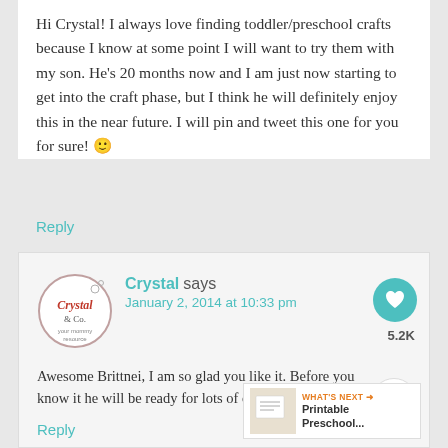Hi Crystal! I always love finding toddler/preschool crafts because I know at some point I will want to try them with my son. He’s 20 months now and I am just now starting to get into the craft phase, but I think he will definitely enjoy this in the near future. I will pin and tweet this one for you for sure! 🙂
Reply
Crystal says
January 2, 2014 at 10:33 pm
Awesome Brittnei, I am so glad you like it. Before you know it he will be ready for lots of crafting. Time flies.
Reply